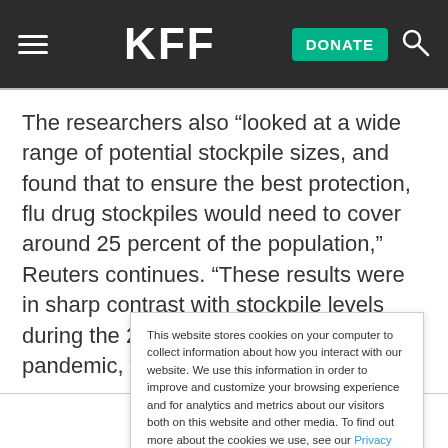KFF
The researchers also “looked at a wide range of potential stockpile sizes, and found that to ensure the best protection, flu drug stockpiles would need to cover around 25 percent of the population,” Reuters continues. “These results were in sharp contrast with stockpile levels during the 2009 H1N1 [swine] flu pandemic, the
This website stores cookies on your computer to collect information about how you interact with our website. We use this information in order to improve and customize your browsing experience and for analytics and metrics about our visitors both on this website and other media. To find out more about the cookies we use, see our Privacy Policy.
Accept